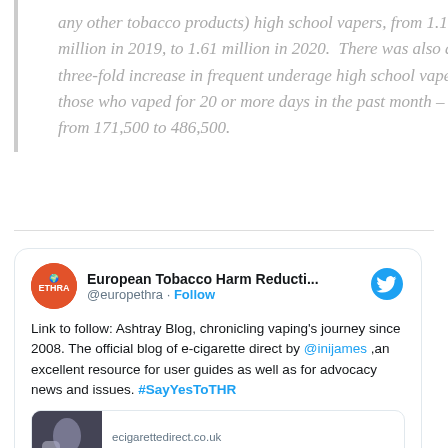any other tobacco products) high school vapers, from 1.15 million in 2019, to 1.61 million in 2020.  There was also a three-fold increase in frequent underage high school vapers – those who vaped for 20 or more days in the past month – from 171,500 to 486,500.
[Figure (screenshot): Embedded tweet from @europethra (European Tobacco Harm Reducti...) with Twitter bird icon. Tweet text: 'Link to follow: Ashtray Blog, chronicling vaping's journey since 2008. The official blog of e-cigarette direct by @inijames ,an excellent resource for user guides as well as for advocacy news and issues. #SayYesToTHR' with a link preview card showing ecigarettedirect.co.uk and 'Vape Predictions 2021: Expert']